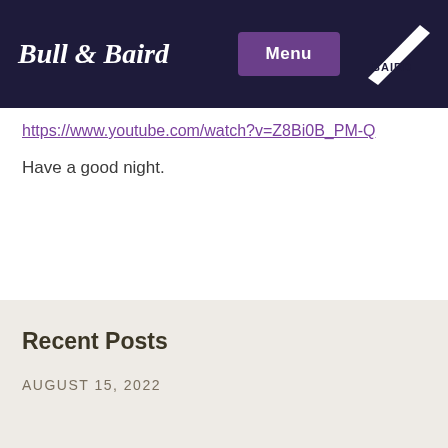Bull & Baird
https://www.youtube.com/watch?v=Z8Bi0B_PM-Q
Have a good night.
Recent Posts
AUGUST 15, 2022